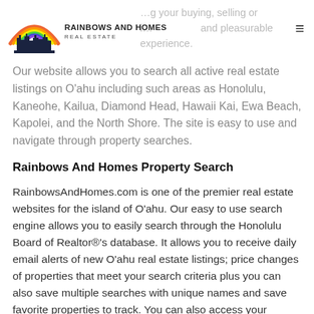[Figure (logo): Rainbows And Homes Real Estate logo with rainbow and city skyline icon]
…g your buying, selling or i… and pleasurable experience.
Our website allows you to search all active real estate listings on O'ahu including such areas as Honolulu, Kaneohe, Kailua, Diamond Head, Hawaii Kai, Ewa Beach, Kapolei, and the North Shore. The site is easy to use and navigate through property searches.
Rainbows And Homes Property Search
RainbowsAndHomes.com is one of the premier real estate websites for the island of O'ahu. Our easy to use search engine allows you to easily search through the Honolulu Board of Realtor®'s database. It allows you to receive daily email alerts of new O'ahu real estate listings; price changes of properties that meet your search criteria plus you can also save multiple searches with unique names and save favorite properties to track. You can also access your account anytime,  share your properties with friends and change the homes of the cr…